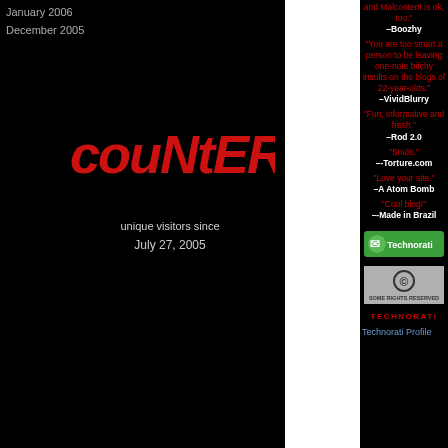January 2006
December 2005
[Figure (logo): Counter logo with stylized red graffiti-style text reading 'couNtER']
unique visitors since
July 27, 2005
"and Malcontent is ok, too." --Boozhy
"You are too smart a person to be leaving one-note bitchy insults on the blogs of 22-year-olds." --VividBlurry
"Fun, informative and fresh." --Rod 2.0
"Snide." --Torture.com
"Love your site." –A Atom Bomb
"Cool blog!" --Made in Brazil
[Figure (logo): Technorati badge - green logo with Technorati text]
[Figure (logo): Creative Commons Some Rights Reserved badge - grey with CC symbol]
TECHNORATI
Technorati Profile